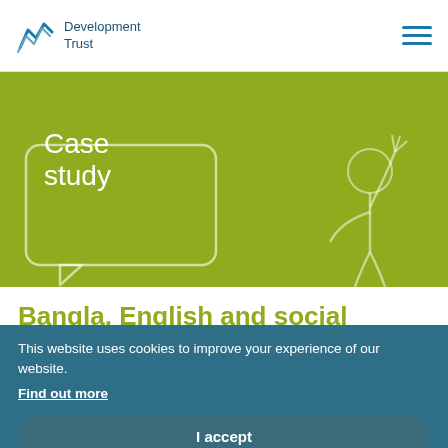Development Trust
Case study
[Figure (illustration): Line drawing illustration of a person with hand raised and a speech bubble, on olive/yellow-green background]
Bangla, English and social
This website uses cookies to improve your experience of our website.
Find out more
I accept